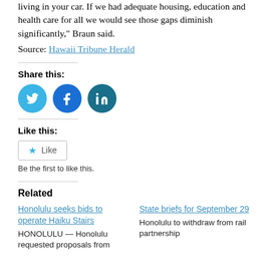living in your car. If we had adequate housing, education and health care for all we would see those gaps diminish significantly," Braun said.
Source: Hawaii Tribune Herald
Share this:
[Figure (illustration): Three social media share buttons: Twitter (bird icon, cyan circle), Facebook (f icon, dark blue circle), LinkedIn (in icon, dark teal circle)]
Like this:
[Figure (illustration): A Like button with a star icon and the word Like]
Be the first to like this.
Related
Honolulu seeks bids to operate Haiku Stairs
HONOLULU — Honolulu requested proposals from
State briefs for September 29
Honolulu to withdraw from rail partnership